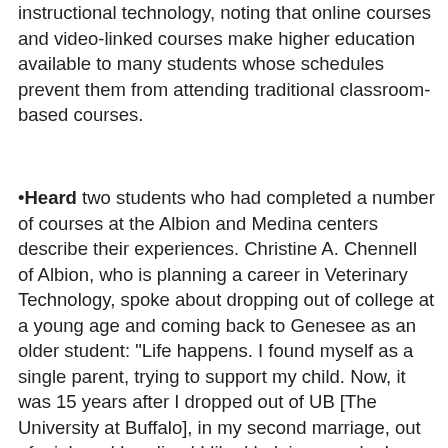instructional technology, noting that online courses and video-linked courses make higher education available to many students whose schedules prevent them from attending traditional classroom-based courses.
Heard two students who had completed a number of courses at the Albion and Medina centers describe their experiences. Christine A. Chennell of Albion, who is planning a career in Veterinary Technology, spoke about dropping out of college at a young age and coming back to Genesee as an older student: “Life happens. I found myself as a single parent, trying to support my child. Now, it was 15 years after I dropped out of UB [The University at Buffalo], in my second marriage, out of a job and I realized I liked helping people. I thought, why not a Human Services degree? But the idea really scared me. I didn’t think I could do it. I passed by the campus center a million times.” She eventually decided to begin her studies on a part-time basis, and found out that she could excel in the classroom. She praised Genesee’s faculty who, she said, gave her the knowledge and inspiration to excel. “They are really awesome,” she said. Trustees also heard from Keith McKinney, who, after completing 27½ years